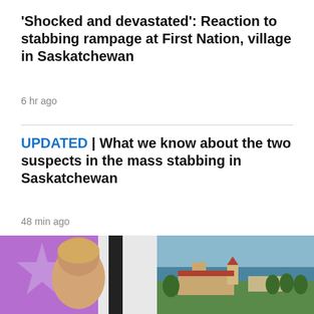'Shocked and devastated': Reaction to stabbing rampage at First Nation, village in Saskatchewan
6 hr ago
UPDATED | What we know about the two suspects in the mass stabbing in Saskatchewan
48 min ago
WORLD >
[Figure (photo): Photo of a man (Trump) with purple star background on the left, and aerial photo of a beachside estate (Mar-a-Lago) on the right]